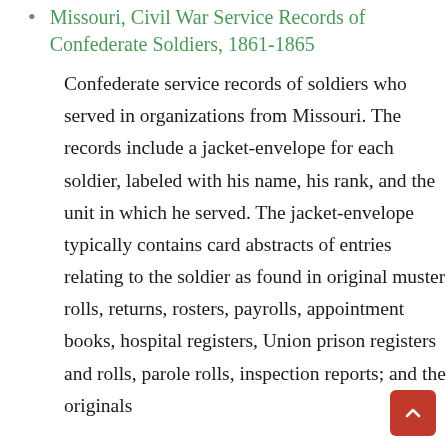Missouri, Civil War Service Records of Confederate Soldiers, 1861-1865
Confederate service records of soldiers who served in organizations from Missouri. The records include a jacket-envelope for each soldier, labeled with his name, his rank, and the unit in which he served. The jacket-envelope typically contains card abstracts of entries relating to the soldier as found in original muster rolls, returns, rosters, payrolls, appointment books, hospital registers, Union prison registers and rolls, parole rolls, inspection reports; and the originals